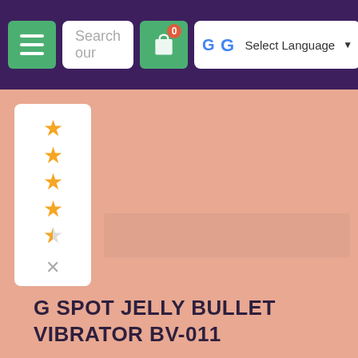Search our | Select Language
[Figure (screenshot): Product page showing a salmon/pink background with a rating panel (4.5 stars) on the left and a product image placeholder. Product title: G SPOT JELLY BULLET VIBRATOR BV-011]
G SPOT JELLY BULLET VIBRATOR BV-011